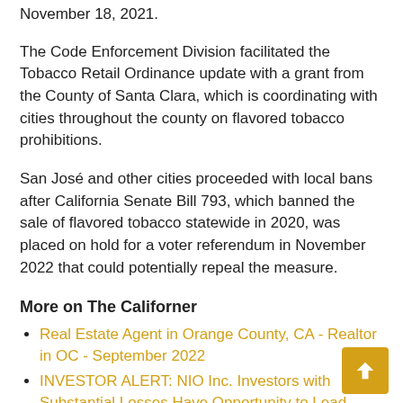November 18, 2021.
The Code Enforcement Division facilitated the Tobacco Retail Ordinance update with a grant from the County of Santa Clara, which is coordinating with cities throughout the county on flavored tobacco prohibitions.
San José and other cities proceeded with local bans after California Senate Bill 793, which banned the sale of flavored tobacco statewide in 2020, was placed on hold for a voter referendum in November 2022 that could potentially repeal the measure.
More on The Californer
Real Estate Agent in Orange County, CA - Realtor in OC - September 2022
INVESTOR ALERT: NIO Inc. Investors with Substantial Losses Have Opportunity to Lead Class Action Lawsuit - NIO
TVS Radio Network.Com Opens the Atomic Lounge Radio Channel